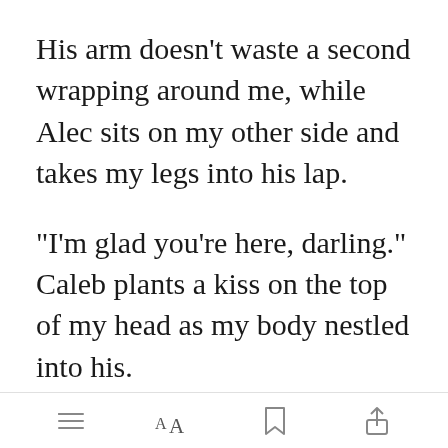His arm doesn’t waste a second wrapping around me, while Alec sits on my other side and takes my legs into his lap.
“I’m glad you’re here, darling.” Caleb plants a kiss on the top of my head as my body nestled into his.
“Me too.” I grip relaxing into both of their touches.
[Figure (screenshot): App toolbar at bottom with menu, font size (AA), bookmark, and share icons. Green 'Open in app' button overlaid on text.]